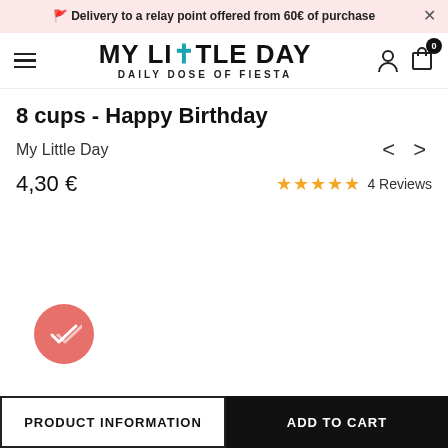🚩 Delivery to a relay point offered from 60€ of purchase
[Figure (logo): MY LITTLE DAY logo with teal cross in 'LITTLE', subtitle DAILY DOSE OF FIESTA]
8 cups - Happy Birthday
My Little Day
4,30 €
★★★★★ 4 Reviews
[Figure (illustration): Pink/salmon circular badge with white double checkmark icon]
PRODUCT INFORMATION
ADD TO CART